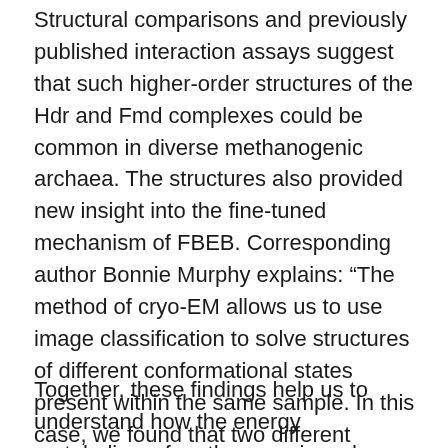Structural comparisons and previously published interaction assays suggest that such higher-order structures of the Hdr and Fmd complexes could be common in diverse methanogenic archaea. The structures also provided new insight into the fine-tuned mechanism of FBEB. Corresponding author Bonnie Murphy explains: "The method of cryo-EM allows us to use image classification to solve structures of different conformational states present within the same sample. In this case, we found that two different conformational states of the complex differed by a large rotation of a portion we are calling the 'mobile arm'. By rotating between these two states, the complex controls electron flow into and out of the FBEB site".
Together, these findings help us to understand how the energy metabolism of methanogenic archaea is fine-tuned for efficient electron flow into and out of